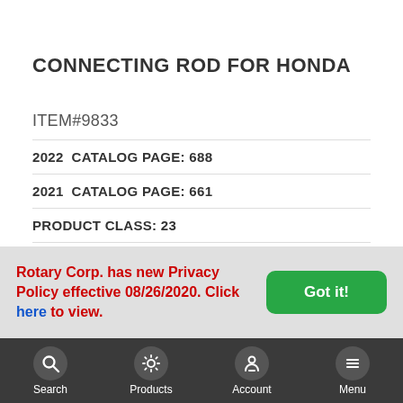CONNECTING ROD FOR HONDA
ITEM#9833
2022  CATALOG PAGE: 688
2021  CATALOG PAGE: 661
PRODUCT CLASS: 23
Rotary Corp. has new Privacy Policy effective 08/26/2020. Click here to view.
[Figure (screenshot): Mobile app bottom navigation bar with Search, Products, Account, Menu icons on dark background]